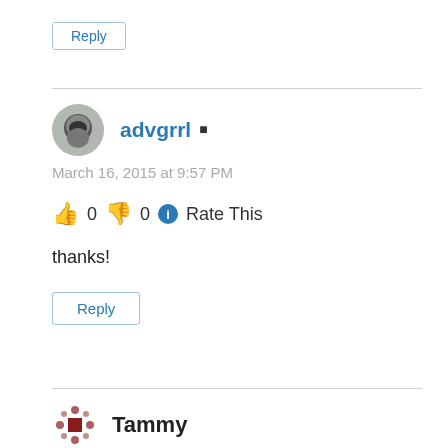Reply
advgrrl
March 16, 2015 at 9:57 PM
👍 0 👎 0 ℹ Rate This
thanks!
Reply
Tammy